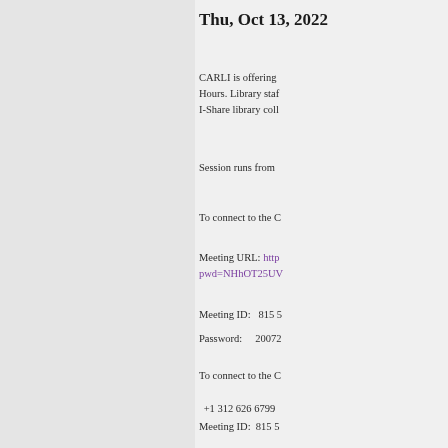Thu, Oct 13, 202...
CARLI is offering ... Hours. Library staf... I-Share library coll...
Session runs from ...
To connect to the C...
Meeting URL: http... pwd=NHhOT25U...
Meeting ID:   815 5...
Password:    20072...
To connect to the C...
+1 312 626 6799 ...
Meeting ID:  815 5...
Password:   20072...
Find your local nu...